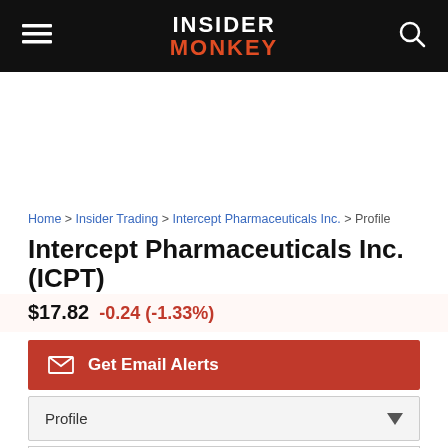INSIDER MONKEY
Home > Insider Trading > Intercept Pharmaceuticals Inc. > Profile
Intercept Pharmaceuticals Inc. (ICPT)
$17.82  -0.24 (-1.33%)
Get Email Alerts
Profile
Sector: Pharmaceutical/Drugs...